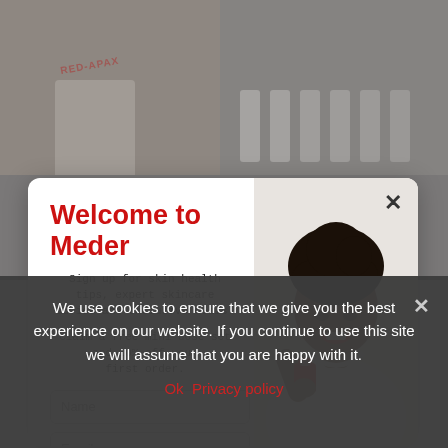[Figure (screenshot): Blurred background of website showing skincare product images (RED-APAX product on left, multiple white tubes on right)]
[Figure (screenshot): Modal popup overlay: Welcome to Meder signup form with name and email fields, subscribe button, and photo of smiling woman holding a small red Meder product bottle]
Welcome to Meder
Sign up for skin health tips, expert skincare advice and exclusive deals.
Claim a free mini dose set and 10% off your first order.
Subscribe
We use cookies to ensure that we give you the best experience on our website. If you continue to use this site we will assume that you are happy with it.
Ok  Privacy policy